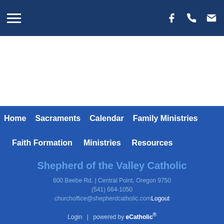Navigation bar with hamburger menu, Facebook, phone, and email icons
[Figure (screenshot): White content area below top nav bar]
Home
Sacraments
Calendar
Family Ministries
Faith Formation
Ministries
Resources
Shepherd of the Valley Catholic
600 Beebe Rd. | Central Point, Oregon 9750
(541) 664-1050
churchoffice@shepherdcatholic.com Logout
Login | powered by eCatholic®